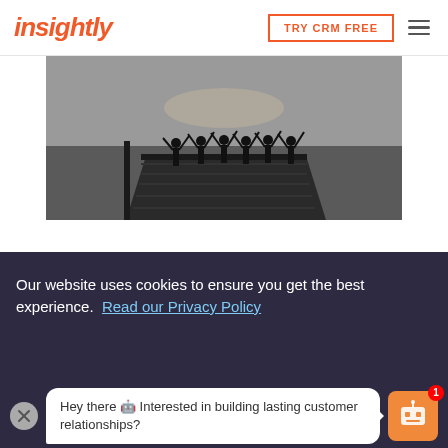insightly | TRY CRM FREE
[Figure (photo): Black and white photo of a group of people standing on a dock/pier over water, arms raised in celebration]
BEST PRACTICES
7 Essential CRM Team Roles + BONUS: How to Str...
Our website uses cookies to ensure you get the best experience. Read our Privacy Policy
Hey there 🤖 Interested in building lasting customer relationships?